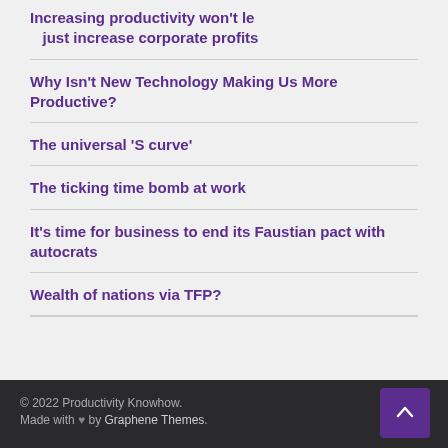Increasing productivity won’t lead to living standards for all – just increase corporate profits
Why Isn’t New Technology Making Us More Productive?
The universal ‘S curve’
The ticking time bomb at work
It’s time for business to end its Faustian pact with autocrats
Wealth of nations via TFP?
© 2022 Productivity Knowhow. Made with ♥ by Graphene Themes.